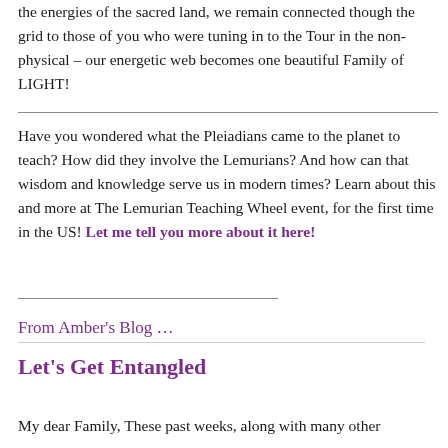the energies of the sacred land, we remain connected though the grid to those of you who were tuning in to the Tour in the non-physical – our energetic web becomes one beautiful Family of LIGHT!
Have you wondered what the Pleiadians came to the planet to teach? How did they involve the Lemurians? And how can that wisdom and knowledge serve us in modern times? Learn about this and more at The Lemurian Teaching Wheel event, for the first time in the US! Let me tell you more about it here!
From Amber's Blog …
Let's Get Entangled
My dear Family, These past weeks, along with many other